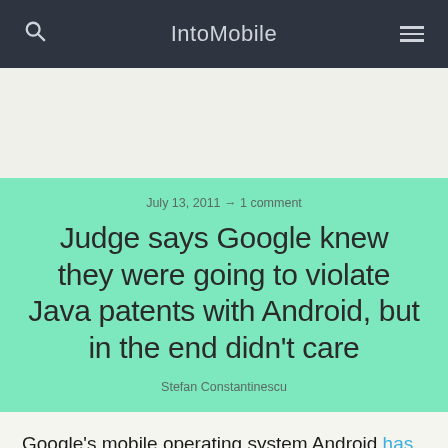IntoMobile
July 13, 2011 → 1 comment
Judge says Google knew they were going to violate Java patents with Android, but in the end didn't care
Stefan Constantinescu
Google's mobile operating system Android has been in the headlines recently, and not for what new innovative features are due to arrive in the next version dubbed Ice